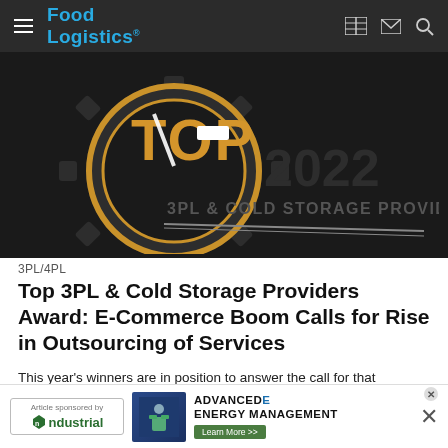Food Logistics
[Figure (logo): Top 2022 3PL & Cold Storage Providers award logo with gear and gold TOP lettering]
3PL/4PL
Top 3PL & Cold Storage Providers Award: E-Commerce Boom Calls for Rise in Outsourcing of Services
This year's winners are in position to answer the call for that increased demand in outsourcing of services.
Marina May | August 10, 2022
[Figure (infographic): Article sponsored by ndustrial - ADVANCED ENERGY MANAGEMENT Learn More advertisement banner]